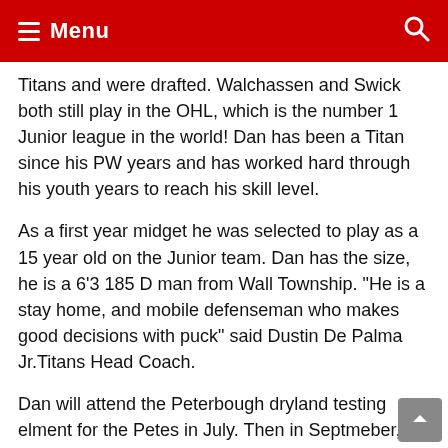Menu
Titans and were drafted. Walchassen and Swick both still play in the OHL, which is the number 1 Junior league in the world!  Dan has been a Titan since his PW years and has worked hard through his youth years to reach his skill level.
As a first year midget he was selected to play as a 15 year old on the Junior team.  Dan has the size, he is a 6'3 185 D man from Wall Township.  "He is a stay home, and mobile defenseman who makes good decisions with puck"  said Dustin De Palma Jr.Titans Head Coach.
Dan will attend the Peterbough dryland testing elment for the Petes in July. Then in Septmeber, he will report to the team's camp for 48 hrs. "Our relationship with OHL keeps getting stronger as we continue to get players in front of the right people, at the right event and it gives the players a chance to get noticed", said